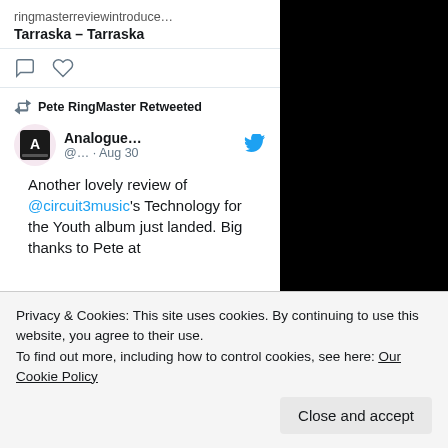ringmasterreviewintroduce…
Tarraska – Tarraska
Pete RingMaster Retweeted
Analogue… @... · Aug 30
Another lovely review of @circuit3music's Technology for the Youth album just landed. Big thanks to Pete at
Privacy & Cookies: This site uses cookies. By continuing to use this website, you agree to their use.
To find out more, including how to control cookies, see here: Our Cookie Policy
Close and accept